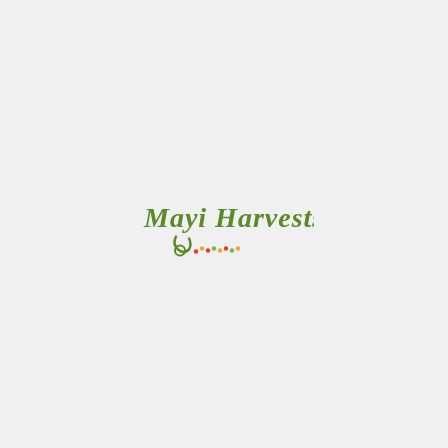[Figure (logo): Mayi Harvests logo — handwritten-style green text reading 'Mayi Harvests' with a decorative swirl and small colorful dots beneath]